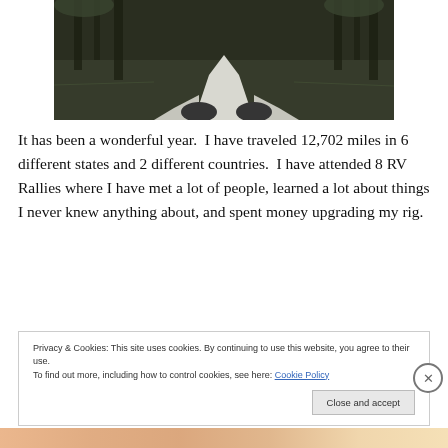[Figure (photo): View from inside a kayak looking over the bow onto a dark swampy waterway surrounded by cypress trees]
It has been a wonderful year.  I have traveled 12,702 miles in 6 different states and 2 different countries.  I have attended 8 RV Rallies where I have met a lot of people, learned a lot about things I never knew anything about, and spent money upgrading my rig.
Privacy & Cookies: This site uses cookies. By continuing to use this website, you agree to their use.
To find out more, including how to control cookies, see here: Cookie Policy
Close and accept